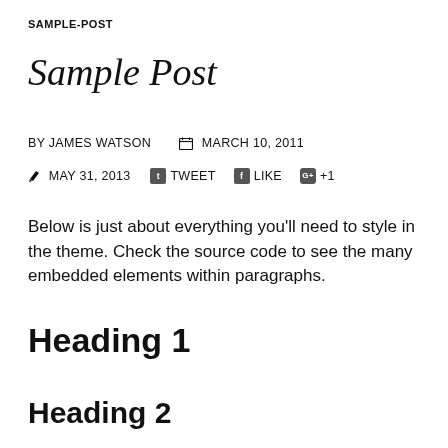SAMPLE-POST
Sample Post
BY JAMES WATSON   📅 MARCH 10, 2011
✏ MAY 31, 2013   𝑏 TWEET   f LIKE   G+ +1
Below is just about everything you’ll need to style in the theme. Check the source code to see the many embedded elements within paragraphs.
Heading 1
Heading 2